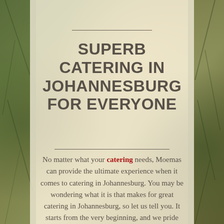[Figure (photo): Background photo of lush green tropical foliage and trees with dappled sunlight, with a semi-transparent warm beige overlay panel in the center]
SUPERB CATERING IN JOHANNESBURG FOR EVERYONE
No matter what your catering needs, Moemas can provide the ultimate experience when it comes to catering in Johannesburg. You may be wondering what it is that makes for great catering in Johannesburg, so let us tell you. It starts from the very beginning, and we pride ourselves in making all our food from scratch, using only the freshest ingredients that we